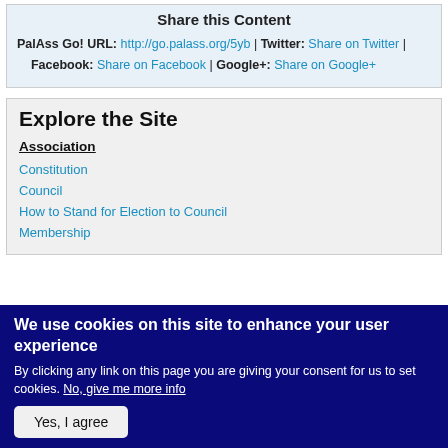Share this Content
PalAss Go! URL: http://go.palass.org/5yb | Twitter: Share on Twitter | Facebook: Share on Facebook | Google+: Share on Google+
Explore the Site
Association
Constitution
Council
How to Stand for Election to Council
Membership
We use cookies on this site to enhance your user experience
By clicking any link on this page you are giving your consent for us to set cookies. No, give me more info
Yes, I agree